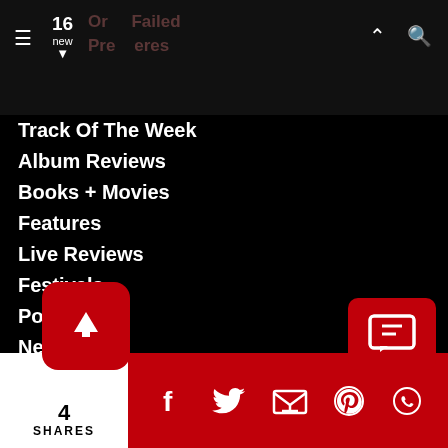16 new
Track Of The Week
Album Reviews
Books + Movies
Features
Live Reviews
Festivals
Portraits
News
Events
Entertainment Headlines
Concert Listings
Toronto Concert Venues
About Us
C…
4 SHARES — social icons: Facebook, Twitter, Email, Pinterest, WhatsApp